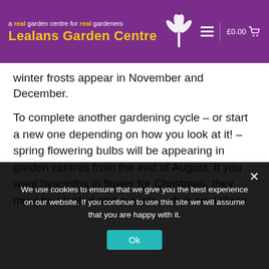a real garden centre for real gardeners — Lealans Garden Centre — £0.00
winter frosts appear in November and December.
To complete another gardening cycle – or start a new one depending on how you look at it! – spring flowering bulbs will be appearing in garden centres from the end of August. If you want hyacinths in flower for Christmas, they must be planted and put into a dark cool place in September. Most varieties require an eight to 10-week cool period followed by two of three weeks of warmer conditions to bring them into
We use cookies to ensure that we give you the best experience on our website. If you continue to use this site we will assume that you are happy with it.